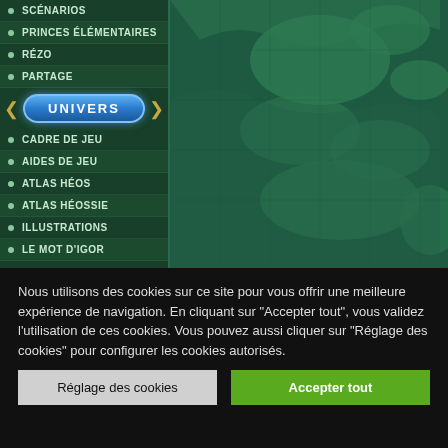[Figure (screenshot): Fantasy world map background in green tones showing landmasses and water]
SCÉNARIOS
PRINCES ÉLÉMENTAIRES
RÉZO
PARTAGE
UNIVERS
CADRE DE JEU
AIDES DE JEU
ATLAS HÉOS
ATLAS HÉOSSIE
ILLUSTRATIONS
LE MOT D'IGOR
Nous utilisons des cookies sur ce site pour vous offrir une meilleure expérience de navigation. En cliquant sur "Accepter tout", vous validez l'utilisation de ces cookies. Vous pouvez aussi cliquer sur "Réglage des cookies" pour configurer les cookies autorisés.
Réglage des cookies
Accepter tout